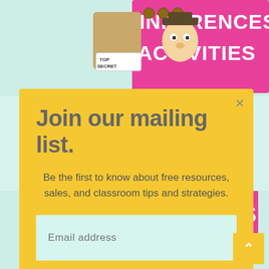[Figure (illustration): Top portion of an educational inference activities book cover showing a cartoon spy/detective figure with 'TOP SECRET' label and pink banner reading 'INFERENCES ACTIVITIES' in white bold text]
Join our mailing list.
Be the first to know about free resources, sales, and classroom tips and strategies.
[Figure (screenshot): Email address input field with light mint green background showing placeholder text 'Email address']
[Figure (screenshot): Gray Subscribe button]
[Figure (illustration): Bottom portion showing blurred inference activities worksheets and book cover with 'ACTIVITIES' text visible on pink background, plus a yellow scroll-to-top button with upward chevron]